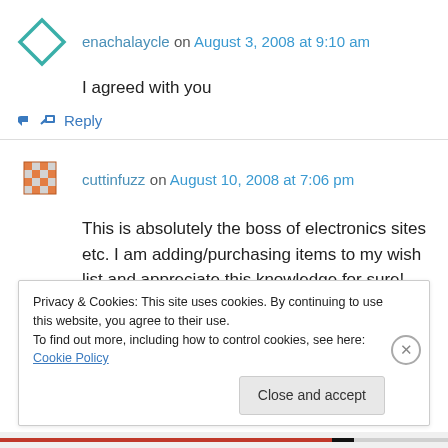enachalaycle on August 3, 2008 at 9:10 am
I agreed with you
↵ Reply
cuttinfuzz on August 10, 2008 at 7:06 pm
This is absolutely the boss of electronics sites etc. I am adding/purchasing items to my wish list and appreciate this knowledge for sure! Thanks for sharing this website and information!
Privacy & Cookies: This site uses cookies. By continuing to use this website, you agree to their use.
To find out more, including how to control cookies, see here: Cookie Policy
Close and accept